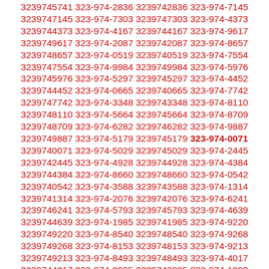3239745741 323-974-2836 3239742836 323-974-7145 3239747145 323-974-7303 3239747303 323-974-4373 3239744373 323-974-4167 3239744167 323-974-9617 3239749617 323-974-2087 3239742087 323-974-8657 3239748657 323-974-0519 3239740519 323-974-7554 3239747554 323-974-9984 3239749984 323-974-5976 3239745976 323-974-5297 3239745297 323-974-4452 3239744452 323-974-0665 3239740665 323-974-7742 3239747742 323-974-3348 3239743348 323-974-8110 3239748110 323-974-5664 3239745664 323-974-8709 3239748709 323-974-6282 3239746282 323-974-9887 3239749887 323-974-5179 3239745179 323-974-0071 3239740071 323-974-5029 3239745029 323-974-2445 3239742445 323-974-4928 3239744928 323-974-4384 3239744384 323-974-8660 3239748660 323-974-0542 3239740542 323-974-3588 3239743588 323-974-1314 3239741314 323-974-2076 3239742076 323-974-6241 3239746241 323-974-5793 3239745793 323-974-4639 3239744639 323-974-1985 3239741985 323-974-9220 3239749220 323-974-8540 3239748540 323-974-9268 3239749268 323-974-8153 3239748153 323-974-9213 3239749213 323-974-8493 3239748493 323-974-4017 3239744017 323-974-2995 3239742995 323-974-1298 3239741298 323-974-6023 3239746023 323-974-7372 3239747372 323-974-5245 3239745245 323-974-0362